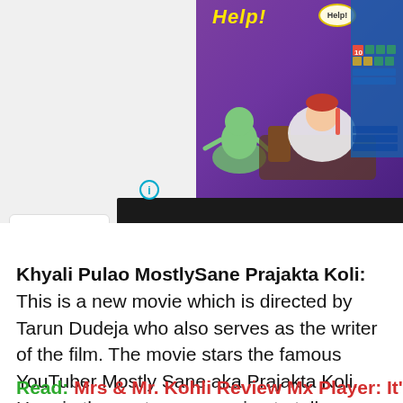[Figure (screenshot): Advertisement banner showing a mobile game with 'Help!' text in yellow on purple background with cartoon zombie and sick person character, plus a dark strip showing a blurred photo below]
Khyali Pulao MostlySane Prajakta Koli: This is a new movie which is directed by Tarun Dudeja who also serves as the writer of the film. The movie stars the famous YouTuber Mostly Sane aka Prajakta Koli. Here in the post, we are going to tell you about the details of the movie, like the cast, release date and time, and more.
Read: Mrs & Mr. Kohli Review Mx Player: It's